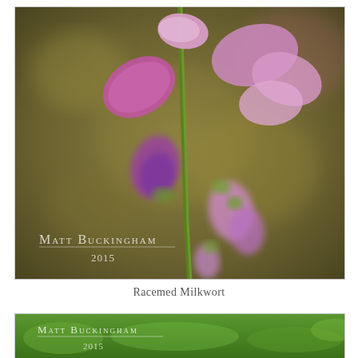[Figure (photo): Close-up macro photograph of Racemed Milkwort plant with pink/purple flowers and buds on a green stem, against a blurred olive-brown background. Watermark reads 'Matt Buckingham 2015' in the lower-left corner.]
Racemed Milkwort
[Figure (photo): Partial view of another photograph by Matt Buckingham 2015, showing green foliage, with the photographer's watermark visible at the top.]